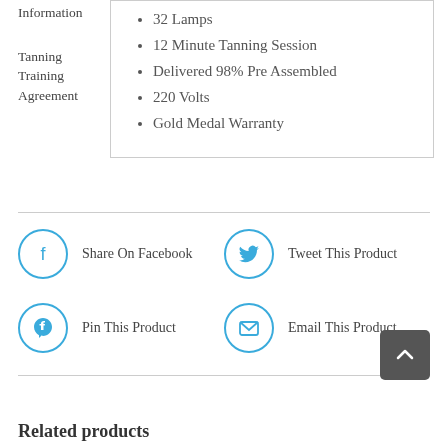Information
Tanning Training Agreement
32 Lamps
12 Minute Tanning Session
Delivered 98% Pre Assembled
220 Volts
Gold Medal Warranty
Share On Facebook
Tweet This Product
Pin This Product
Email This Product
Related products